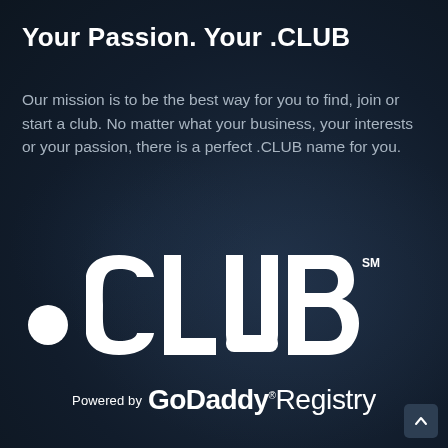Your Passion. Your .CLUB
Our mission is to be the best way for you to find, join or start a club. No matter what your business, your interests or your passion, there is a perfect .CLUB name for you.
[Figure (logo): .CLUB logo in large white bold lettering with SM superscript, and 'Powered by GoDaddy Registry' tagline below]
Powered by GoDaddy® Registry